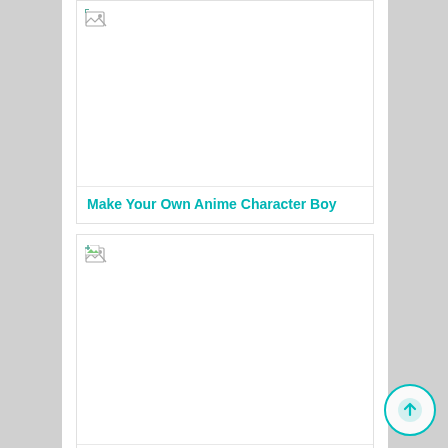[Figure (illustration): Broken image placeholder for anime boy character article]
Make Your Own Anime Character Boy
[Figure (illustration): Broken image placeholder for free paypal money generator article]
Free Paypal Money Generator 2021 No